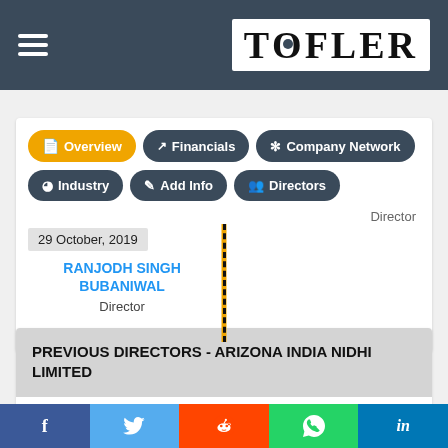TOFLER
[Figure (screenshot): Navigation menu buttons: Overview (orange), Financials, Company Network, Industry, Add Info, Directors (dark teal)]
Director
29 October, 2019
RANJODH SINGH BUBANIWAL
Director
PREVIOUS DIRECTORS - ARIZONA INDIA NIDHI LIMITED
Login to view previous directors
f  Twitter  Reddit  WhatsApp  in